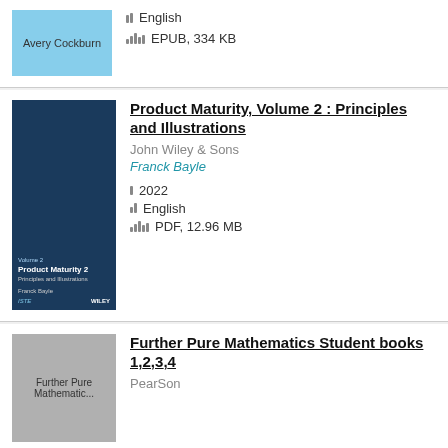English
EPUB, 334 KB
[Figure (illustration): Book cover thumbnail with light blue background and text 'Avery Cockburn']
Product Maturity, Volume 2 : Principles and Illustrations
John Wiley & Sons
Franck Bayle
2022
English
PDF, 12.96 MB
[Figure (illustration): Book cover for Product Maturity 2: Principles and Illustrations by Franck Bayle, dark blue with technology imagery, published by Wiley/ISTE]
Further Pure Mathematics Student books 1,2,3,4
PearSon
[Figure (illustration): Book cover for Further Pure Mathematics, gray background]